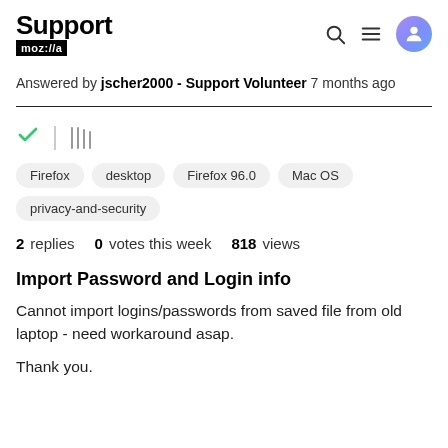Support moz://a
Answered by jscher2000 - Support Volunteer 7 months ago
[Figure (other): Checkmark icon and library/bookmark icon row]
Firefox
desktop
Firefox 96.0
Mac OS
privacy-and-security
2 replies  0 votes this week  818 views
Import Password and Login info
Cannot import logins/passwords from saved file from old laptop - need workaround asap.

Thank you.